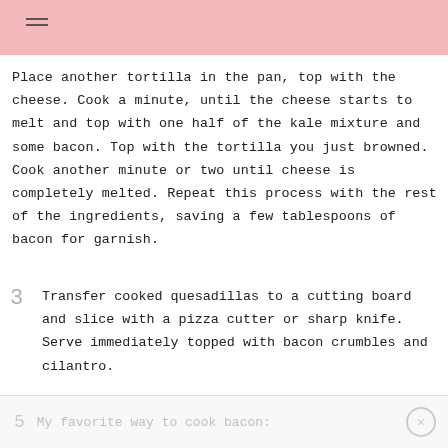≡
Place another tortilla in the pan, top with the cheese. Cook a minute, until the cheese starts to melt and top with one half of the kale mixture and some bacon. Top with the tortilla you just browned. Cook another minute or two until cheese is completely melted. Repeat this process with the rest of the ingredients, saving a few tablespoons of bacon for garnish.
3  Transfer cooked quesadillas to a cutting board and slice with a pizza cutter or sharp knife. Serve immediately topped with bacon crumbles and cilantro.
5  My favorite way to cook bacon: